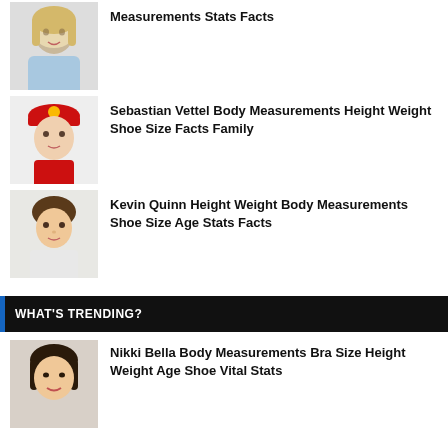[Figure (photo): Claudia Schiffer headshot thumbnail]
Measurements Stats Facts
[Figure (photo): Sebastian Vettel headshot thumbnail in Ferrari cap]
Sebastian Vettel Body Measurements Height Weight Shoe Size Facts Family
[Figure (photo): Kevin Quinn headshot thumbnail]
Kevin Quinn Height Weight Body Measurements Shoe Size Age Stats Facts
WHAT'S TRENDING?
[Figure (photo): Nikki Bella headshot thumbnail]
Nikki Bella Body Measurements Bra Size Height Weight Age Shoe Vital Stats